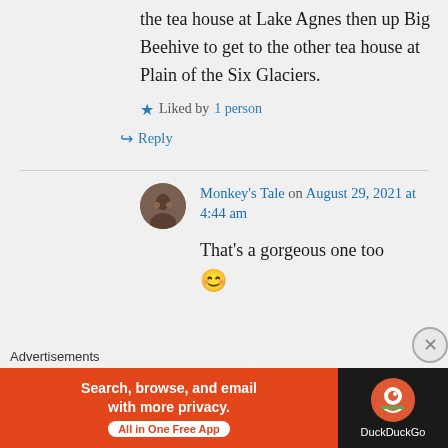the tea house at Lake Agnes then up Big Beehive to get to the other tea house at Plain of the Six Glaciers.
★ Liked by 1 person
↪ Reply
Monkey's Tale on August 29, 2021 at 4:44 am
That's a gorgeous one too 😊
Advertisements
[Figure (screenshot): DuckDuckGo advertisement banner: 'Search, browse, and email with more privacy. All in One Free App' with DuckDuckGo logo on dark right panel]